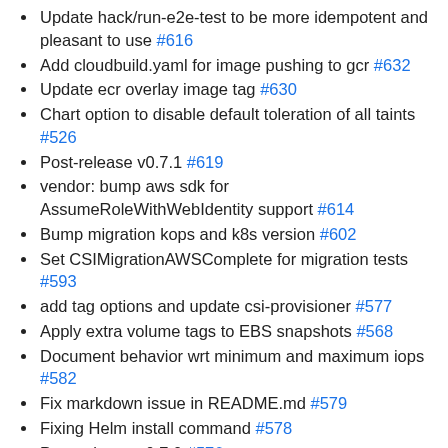Update hack/run-e2e-test to be more idempotent and pleasant to use #616
Add cloudbuild.yaml for image pushing to gcr #632
Update ecr overlay image tag #630
Chart option to disable default toleration of all taints #526
Post-release v0.7.1 #619
vendor: bump aws sdk for AssumeRoleWithWebIdentity support #614
Bump migration kops and k8s version #602
Set CSIMigrationAWSComplete for migration tests #593
add tag options and update csi-provisioner #577
Apply extra volume tags to EBS snapshots #568
Document behavior wrt minimum and maximum iops #582
Fix markdown issue in README.md #579
Fixing Helm install command #578
Post-release v0.7.0 #576